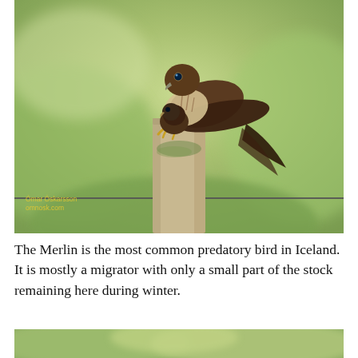[Figure (photo): A Merlin falcon perched on top of a wooden fence post, with a smaller bird (chick or prey) below it on the post. A wire fence runs across the lower portion of the image. The background is a blurred green field. A yellow watermark reads 'Ómar Óskarsson omnosk.com' in the lower left corner.]
The Merlin is the most common predatory bird in Iceland. It is mostly a migrator with only a small part of the stock remaining here during winter.
[Figure (photo): Bottom portion of a second photo showing a blurred green outdoor background, likely another bird or nature photograph.]